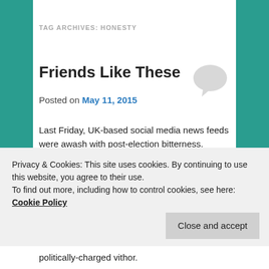TAG ARCHIVES: HONESTY
Friends Like These
Posted on May 11, 2015
Last Friday, UK-based social media news feeds were awash with post-election bitterness. Profanities, accusations and rudeness abounded between those who were – according to their profile descriptions if not evidenced elsewhere that day – 'friends' with one another. Characterised by a desire to shove opinions down each
Privacy & Cookies: This site uses cookies. By continuing to use this website, you agree to their use.
To find out more, including how to control cookies, see here: Cookie Policy
Close and accept
politically-charged vithor.